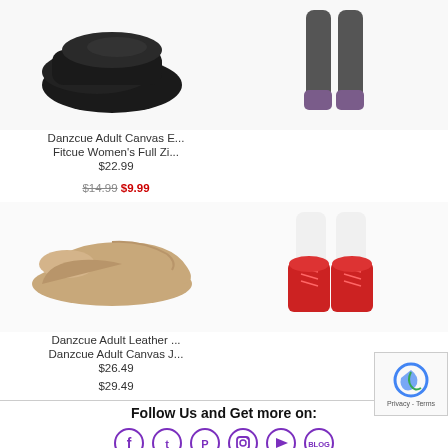[Figure (photo): Danzcue Adult Canvas E... product photo - black shoe]
[Figure (photo): Fitcue Women's Full Zi... product photo - person wearing leggings]
Danzcue Adult Canvas E...
$22.99
Fitcue Women's Full Zi...
$14.99  $9.99
[Figure (photo): Danzcue Adult Leather ... product photo - tan leather slip-on shoe]
[Figure (photo): Danzcue Adult Canvas J... product photo - red lace-up dance shoes]
Danzcue Adult Leather ...
$26.49
Danzcue Adult Canvas J...
$29.49
Follow Us and Get more on:
[Figure (infographic): Social media icons: Facebook, Twitter, Pinterest, Instagram, YouTube, Blog - all in purple circle outlines]
About Us  Reward Program  Teacher Program  Pointe Shoes
Switch to Desktop Version
Copyright © 2007-2022 Danzia. All Rights Reserved.